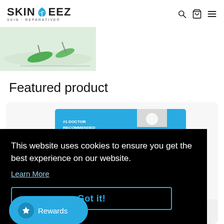SKINEEZ SKIN-REPARATIVE — navigation header with search, cart, and menu icons
[Figure (photo): Hero banner image strip showing a runner with green shoes on a light green background]
Featured product
[Figure (photo): Product card showing a blue Skineez product package with #1 Doctor Recommended label and a hanger slot]
This website uses cookies to ensure you get the best experience on our website.
Learn More
Got it!
Rewards